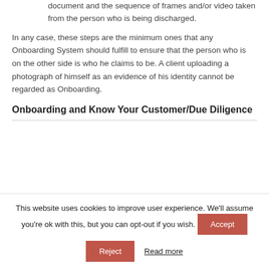document and the sequence of frames and/or video taken from the person who is being discharged.
In any case, these steps are the minimum ones that any Onboarding System should fulfill to ensure that the person who is on the other side is who he claims to be. A client uploading a photograph of himself as an evidence of his identity cannot be regarded as Onboarding.
Onboarding and Know Your Customer/Due Diligence
This website uses cookies to improve user experience. We'll assume you're ok with this, but you can opt-out if you wish.
Accept
Reject
Read more